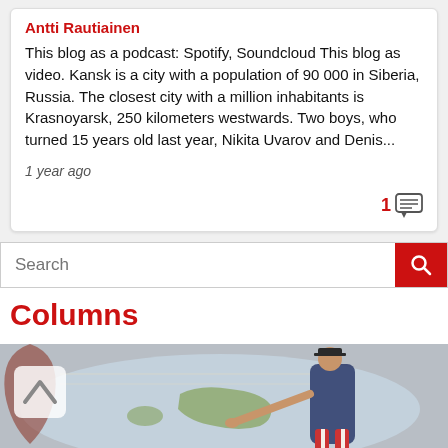Antti Rautiainen
This blog as a podcast: Spotify, Soundcloud This blog as video. Kansk is a city with a population of 90 000 in Siberia, Russia. The closest city with a million inhabitants is Krasnoyarsk, 250 kilometers westwards. Two boys, who turned 15 years old last year, Nikita Uvarov and Denis...
1 year ago
1 comment
Search
Columns
[Figure (illustration): Coloured historical illustration of a man in 19th century attire leaning over a world map, pointing at Australia region, wearing striped trousers]